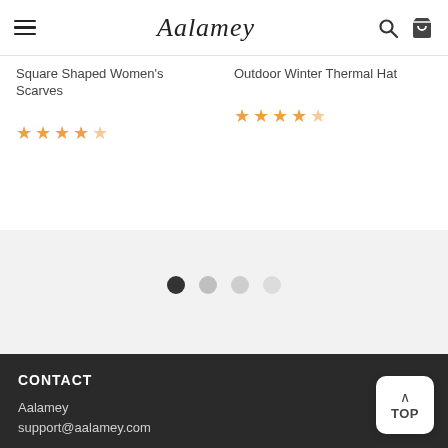Aalamey
Square Shaped Women's Scarves
Outdoor Winter Thermal Hat
[Figure (other): Carousel pagination dots: 4 dots indicating page position, first dot dark/active, remaining dots progressively lighter gray]
CONTACT
Aalamey
support@aalamey.com
182-21 150th Avenue CAI 675982
Springfield Gardens, NY 11413 USA